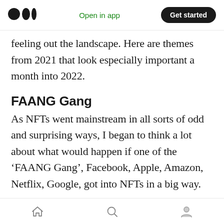Medium logo | Open in app | Get started
feeling out the landscape. Here are themes from 2021 that look especially important a month into 2022.
FAANG Gang
As NFTs went mainstream in all sorts of odd and surprising ways, I began to think a lot about what would happen if one of the ‘FAANG Gang’, Facebook, Apple, Amazon, Netflix, Google, got into NFTs in a big way.
My thinking was that the most likely play was for Facebook to get into NFTs via Instagram. But I
Home | Search | Profile